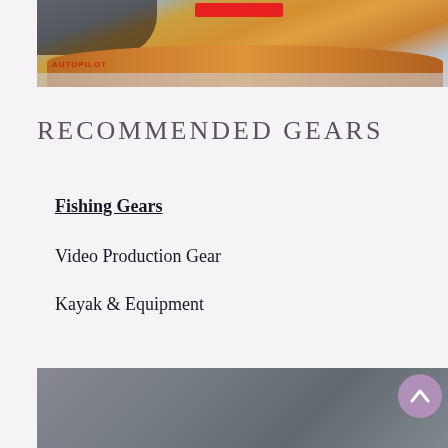[Figure (photo): Two people on an orange pedal kayak with 'AUTOPILOT' text visible, on a light grey carpet surface. A red bar/label is visible near the top of the image.]
RECOMMENDED GEARS
Fishing Gears
Video Production Gear
Kayak & Equipment
[Figure (photo): Partial bottom photo showing a grey/overcast outdoor scene, partially obscured. A purple circular scroll-to-top button with a caret/arrow icon is overlaid in the bottom-right corner.]